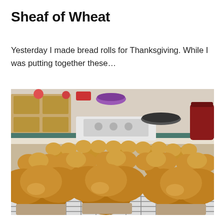Sheaf of Wheat
Yesterday I made bread rolls for Thanksgiving. While I was putting together these…
[Figure (photo): A large batch of golden-brown bread rolls in muffin tins cooling on a wire rack in a kitchen. The rolls are in clusters, with rounded tops, arranged across multiple trays. Kitchen cabinets, a stove, and a red jar are visible in the background.]